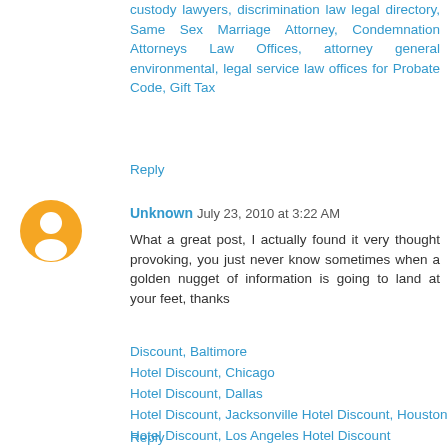custody lawyers, discrimination law legal directory, Same Sex Marriage Attorney, Condemnation Attorneys Law Offices, attorney general environmental, legal service law offices for Probate Code, Gift Tax
Reply
Unknown July 23, 2010 at 3:22 AM
What a great post, I actually found it very thought provoking, you just never know sometimes when a golden nugget of information is going to land at your feet, thanks
Discount, Baltimore
Hotel Discount, Chicago
Hotel Discount, Dallas
Hotel Discount, Jacksonville Hotel Discount, Houston
Hotel Discount, Los Angeles Hotel Discount
Reply